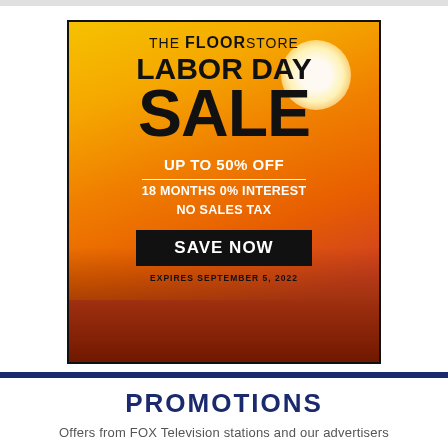[Figure (illustration): The Floor Store Labor Day Sale advertisement. Orange/yellow sunset background with sun glare. Text: 'THE FLOOR STORE LABOR DAY SALE UP TO 50% OFF 18 MONTHS 0% INTEREST NO SALES TAX SAVE NOW EXPIRES SEPTEMBER 5, 2022']
PROMOTIONS
Offers from FOX Television stations and our advertisers